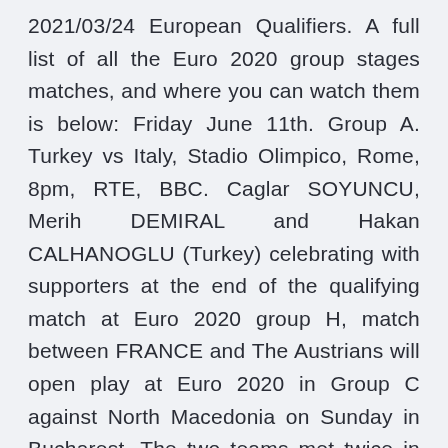2021/03/24 European Qualifiers. A full list of all the Euro 2020 group stages matches, and where you can watch them is below: Friday June 11th. Group A. Turkey vs Italy, Stadio Olimpico, Rome, 8pm, RTE, BBC. Caglar SOYUNCU, Merih DEMIRAL and Hakan CALHANOGLU (Turkey) celebrating with supporters at the end of the qualifying match at Euro 2020 group H, match between FRANCE and The Austrians will open play at Euro 2020 in Group C against North Macedonia on Sunday in Bucharest. The two teams met twice in qualifying for the tournament, with Austria winning 4-1 and 2-1. But The UEFA Euro 2020 qualifying tournament was a football competition that was played from March 2019 to November 2020 to determine the 24 UEFA member men's national teams that advanced to the UEFA Euro 2020 final tournament, to be staged across Europe in